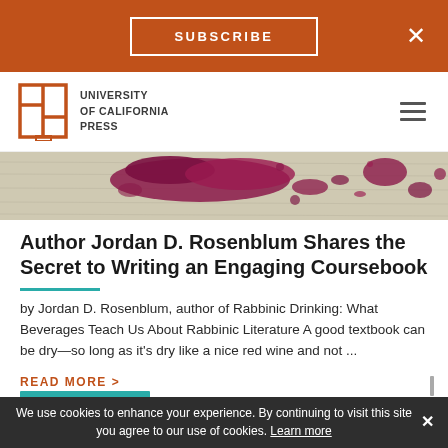SUBSCRIBE ×
[Figure (logo): University of California Press logo with open book icon]
[Figure (photo): Cropped book cover showing red wine stains on burlap/linen fabric]
Author Jordan D. Rosenblum Shares the Secret to Writing an Engaging Coursebook
by Jordan D. Rosenblum, author of Rabbinic Drinking: What Beverages Teach Us About Rabbinic Literature A good textbook can be dry—so long as it's dry like a nice red wine and not ...
READ MORE >
We use cookies to enhance your experience. By continuing to visit this site you agree to our use of cookies. Learn more